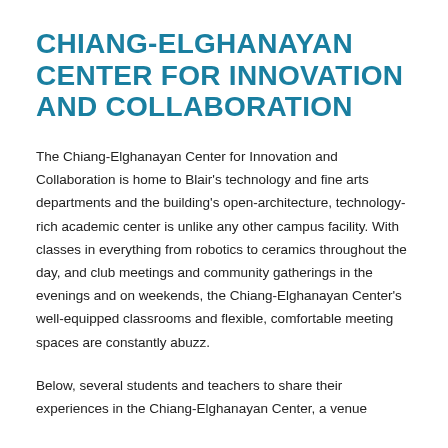CHIANG-ELGHANAYAN CENTER FOR INNOVATION AND COLLABORATION
The Chiang-Elghanayan Center for Innovation and Collaboration is home to Blair's technology and fine arts departments and the building's open-architecture, technology-rich academic center is unlike any other campus facility. With classes in everything from robotics to ceramics throughout the day, and club meetings and community gatherings in the evenings and on weekends, the Chiang-Elghanayan Center's well-equipped classrooms and flexible, comfortable meeting spaces are constantly abuzz.
Below, several students and teachers to share their experiences in the Chiang-Elghanayan Center, a venue